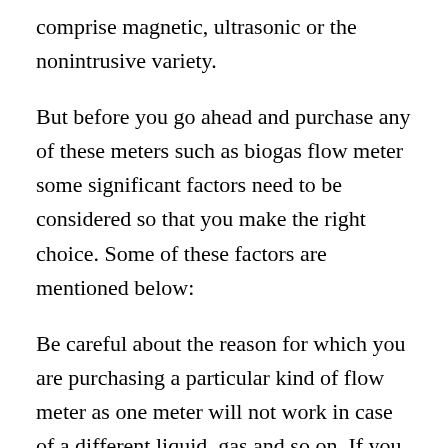comprise magnetic, ultrasonic or the nonintrusive variety.
But before you go ahead and purchase any of these meters such as biogas flow meter some significant factors need to be considered so that you make the right choice. Some of these factors are mentioned below:
Be careful about the reason for which you are purchasing a particular kind of flow meter as one meter will not work in case of a different liquid, gas and so on. If you make a fault then that particular equipment will be rendered ineffective and you will have to purchase another new one. This can prove to be fairly a costly mistake. Don’t forget to think about the piping size, material in addition to the valves that are used. They play an important role in measuring the flow. And